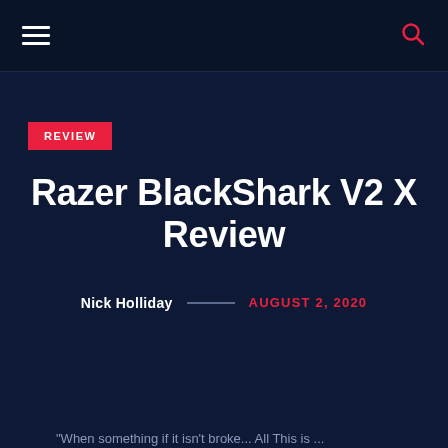Navigation bar with hamburger menu and search icon
REVIEW
Razer BlackShark V2 X Review
Nick Holliday — AUGUST 2, 2020
"When something if it isn't broke... All This is ...